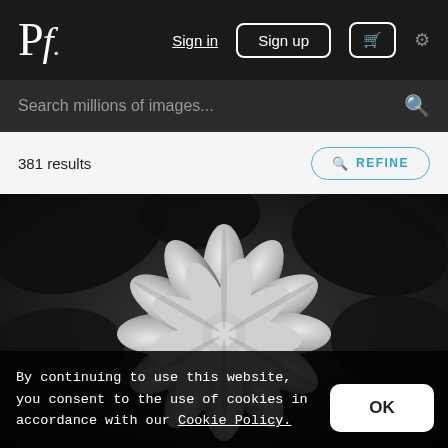Pf.  Sign in  Sign up  [cart]  [settings]
Search millions of images...
381 results
REFINE
[Figure (photo): Black and white close-up photograph of a succulent plant with white petals/leaves against a dark background]
By continuing to use this website, you consent to the use of cookies in accordance with our Cookie Policy.
OK